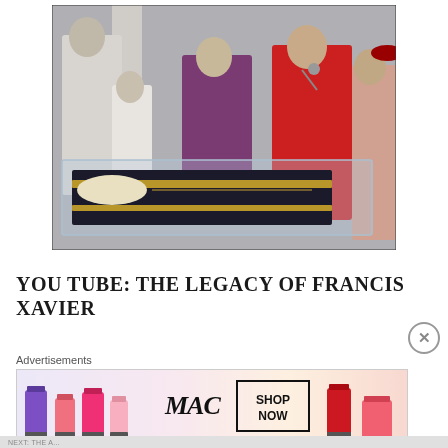[Figure (photo): Religious ceremony photo showing clergy in purple and red vestments standing around a glass reliquary/casket containing a body in black robes. Several priests and altar servers in white surplices are present.]
YOU TUBE: THE LEGACY OF FRANCIS XAVIER
[Figure (screenshot): MAC cosmetics advertisement showing lipsticks in purple, pink colors on the left, MAC logo in the center, a SHOP NOW box, and a red lipstick on the right. Label says 'Advertisements' above.]